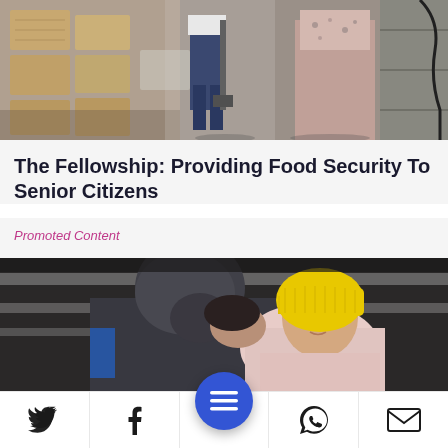[Figure (photo): Two people walking in a warehouse/garden supply area with wooden crates on the left and metal shelving on the right]
The Fellowship: Providing Food Security To Senior Citizens
Promoted Content
[Figure (photo): A person in a dark hooded coat holding and kissing a baby wearing a yellow knit hat and light pink outfit]
Social sharing icons: Twitter, Facebook, Menu (FAB), WhatsApp, Email